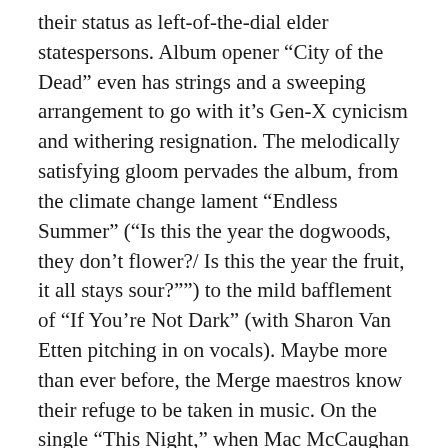their status as left-of-the-dial elder statespersons. Album opener “City of the Dead” even has strings and a sweeping arrangement to go with it’s Gen-X cynicism and withering resignation. The melodically satisfying gloom pervades the album, from the climate change lament “Endless Summer” (“Is this the year the dogwoods, they don’t flower?/ Is this the year the fruit, it all stays sour?””) to the mild bafflement of “If You’re Not Dark” (with Sharon Van Etten pitching in on vocals). Maybe more than ever before, the Merge maestros know their refuge to be taken in music. On the single “This Night,” when Mac McCaughan sings, “The lights are on upstairs/ I could go in the lasting air, listening/ To a final draft of a mix tape/ Time will grind you down,” it feels as right and comfortable as well-worn Chucks. Also check “On the Floor,” “Highly Suspect,” and “Refracting.”